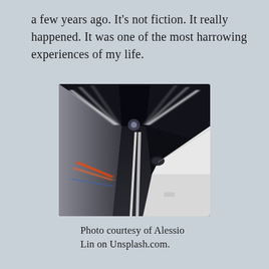a few years ago. It's not fiction. It really happened. It was one of the most harrowing experiences of my life.
[Figure (photo): Motion-blur photo taken from inside a car speeding through a dark tunnel, with white lane markings and streaking tunnel lights visible.]
Photo courtesy of Alessio Lin on Unsplash.com.